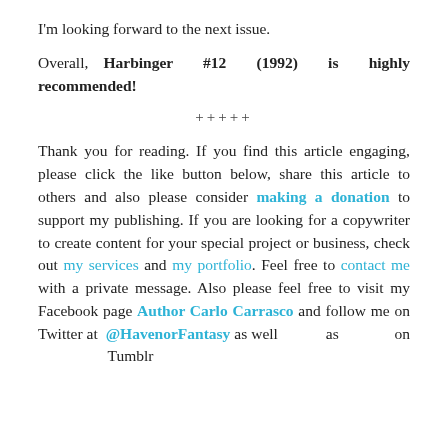I'm looking forward to the next issue.
Overall, Harbinger #12 (1992) is highly recommended!
+++++
Thank you for reading. If you find this article engaging, please click the like button below, share this article to others and also please consider making a donation to support my publishing. If you are looking for a copywriter to create content for your special project or business, check out my services and my portfolio. Feel free to contact me with a private message. Also please feel free to visit my Facebook page Author Carlo Carrasco and follow me on Twitter at @HavenorFantasy as well as on Tumblr